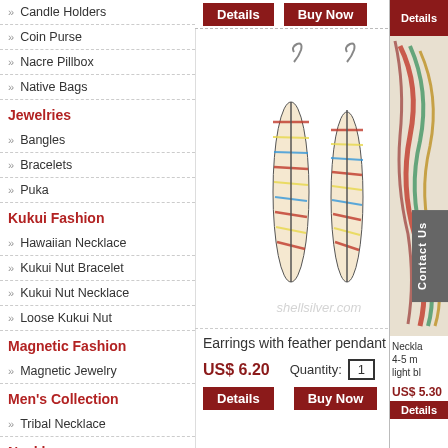Candle Holders
Coin Purse
Nacre Pillbox
Native Bags
Jewelries
Bangles
Bracelets
Puka
Kukui Fashion
Hawaiian Necklace
Kukui Nut Bracelet
Kukui Nut Necklace
Loose Kukui Nut
Magnetic Fashion
Magnetic Jewelry
Men's Collection
Tribal Necklace
Necklaces
Capiz Necklace
Ceramic Necklace
Chokers
[Figure (photo): Earrings with feather pendant product photo with shellsilver.com watermark]
Earrings with feather pendant
US$ 6.20
Quantity: 1
Details
Buy Now
[Figure (photo): Necklace product partially visible on right side]
Necklace 4-5 mm light blu
US$ 5.30
Details
Contact Us